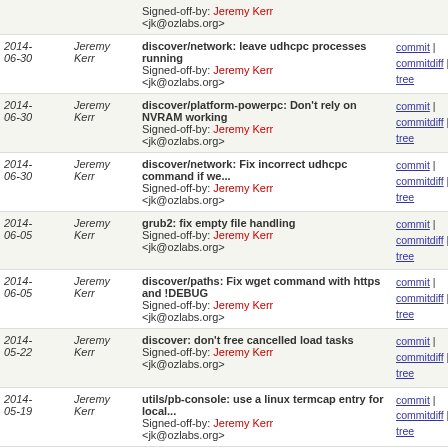| Date | Author | Message | Links |
| --- | --- | --- | --- |
|  |  | Signed-off-by: Jeremy Kerr <jk@ozlabs.org> |  |
| 2014-06-30 | Jeremy Kerr | discover/network: leave udhcpc processes running
Signed-off-by: Jeremy Kerr <jk@ozlabs.org> | commit | commitdiff | tree |
| 2014-06-30 | Jeremy Kerr | discover/platform-powerpc: Don't rely on NVRAM working
Signed-off-by: Jeremy Kerr <jk@ozlabs.org> | commit | commitdiff | tree |
| 2014-06-30 | Jeremy Kerr | discover/network: Fix incorrect udhcpc command if we...
Signed-off-by: Jeremy Kerr <jk@ozlabs.org> | commit | commitdiff | tree |
| 2014-06-05 | Jeremy Kerr | grub2: fix empty file handling
Signed-off-by: Jeremy Kerr <jk@ozlabs.org> | commit | commitdiff | tree |
| 2014-06-05 | Jeremy Kerr | discover/paths: Fix wget command with https and !DEBUG
Signed-off-by: Jeremy Kerr <jk@ozlabs.org> | commit | commitdiff | tree |
| 2014-05-22 | Jeremy Kerr | discover: don't free cancelled load tasks
Signed-off-by: Jeremy Kerr <jk@ozlabs.org> | commit | commitdiff | tree |
| 2014-05-19 | Jeremy Kerr | utils/pb-console: use a linux termcap entry for local...
Signed-off-by: Jeremy Kerr <jk@ozlabs.org> | commit | commitdiff | tree |